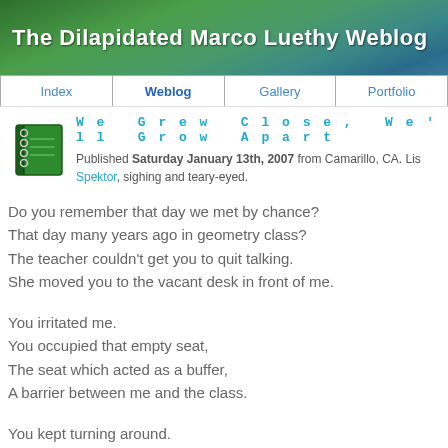The Dilapidated Marco Luethy Weblog
Index | Weblog | Gallery | Portfolio
We Grew Close, We'll Grow Apart
Published Saturday January 13th, 2007 from Camarillo, CA. Listening to Regina Spektor, sighing and teary-eyed.
Do you remember that day we met by chance?
That day many years ago in geometry class?
The teacher couldn't get you to quit talking.
She moved you to the vacant desk in front of me.
You irritated me.
You occupied that empty seat,
The seat which acted as a buffer,
A barrier between me and the class.
You kept turning around.
Speaking to me.
You wouldn't leave me alone.
You befriended me.
You've taught me much,